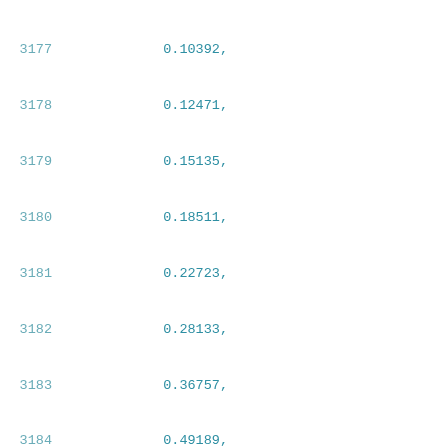3177    0.10392,
3178    0.12471,
3179    0.15135,
3180    0.18511,
3181    0.22723,
3182    0.28133,
3183    0.36757,
3184    0.49189,
3185    0.62448,
3186    0.76325,
3187    0.90467,
3188    1.04848,
3189    1.19167,
3190    1.33379
3191    ],
3192    [
3193        0.06257,
3194        0.0712,
3195        0.0751,
3196        0.08051,
3197        0.08796,
3198        0.09803,